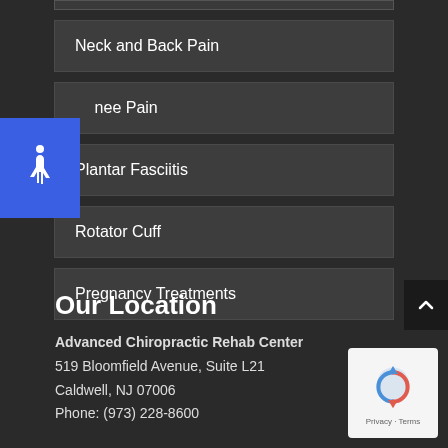Neck and Back Pain
Knee Pain
Plantar Fasciitis
Rotator Cuff
Pregnancy Treatments
Our Location
Advanced Chiropractic Rehab Center
519 Bloomfield Avenue, Suite L21
Caldwell, NJ 07006
Phone: (973) 228-8600